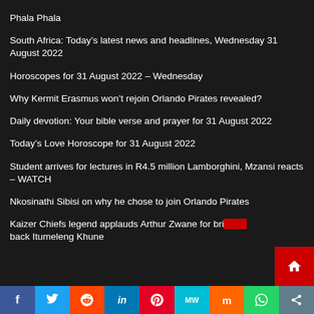Phala Phala
South Africa: Today’s latest news and headlines, Wednesday 31 August 2022
Horoscopes for 31 August 2022 – Wednesday
Why Kermit Erasmus won’t rejoin Orlando Pirates revealed?
Daily devotion: Your bible verse and prayer for 31 August 2022
Today’s Love Horoscope for 31 August 2022
Student arrives for lectures in R4.5 million Lamborghini, Mzansi reacts – WATCH
Nkosinathi Sibisi on why he chose to join Orlando Pirates
Kaizer Chiefs legend applauds Arthur Zwane for bringing back Itumeleng Khune